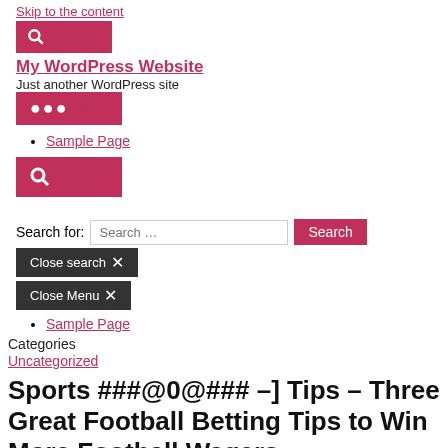Skip to the content
[Figure (other): Search button with magnifying glass icon, pink/red background]
My WordPress Website
Just another WordPress site
[Figure (other): Menu button with three dots, pink/red background]
Sample Page
[Figure (other): Search button with magnifying glass icon, larger, pink/red background]
Search for:
[Figure (other): Search input field with placeholder text 'Search ...' and Search button]
[Figure (other): Close search button with X]
[Figure (other): Close Menu button with X]
Sample Page
Categories
Uncategorized
Sports ###@0@### –] Tips – Three Great Football Betting Tips to Win More Football Wagers